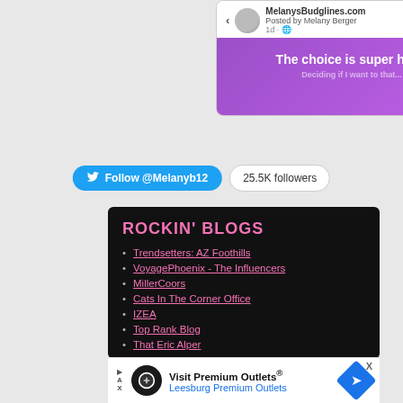[Figure (screenshot): Social media post card from MelanysBudglines.com, posted by Melany Berger 1 day ago. Purple gradient background with bold white text: 'The choice is super hard.' and partially visible next line.]
Follow @Melanyb12
25.5K followers
ROCKIN' BLOGS
Trendsetters: AZ Foothills
VoyagePhoenix - The Influencers
MillerCoors
Cats In The Corner Office
IZEA
Top Rank Blog
That Eric Alper
[Figure (screenshot): Advertisement banner: Visit Premium Outlets® - Leesburg Premium Outlets, with circular logo and blue diamond arrow icon.]